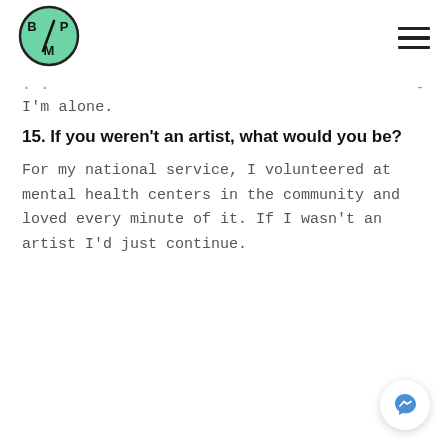[Figure (logo): BPM circular logo with green background and dark text reading B, P, M with a slash]
I'm alone.
15. If you weren't an artist, what would you be?
For my national service, I volunteered at mental health centers in the community and loved every minute of it. If I wasn't an artist I'd just continue.